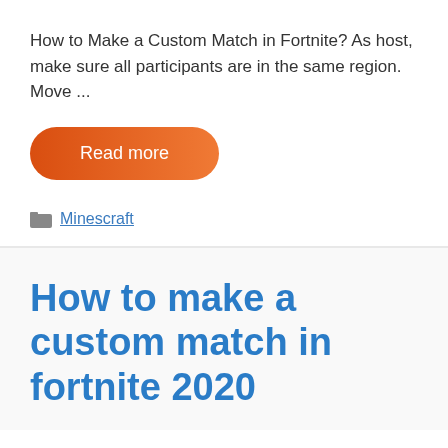How to Make a Custom Match in Fortnite? As host, make sure all participants are in the same region. Move ...
[Figure (other): Orange gradient Read more button with rounded pill shape]
Minescraft
How to make a custom match in fortnite 2020